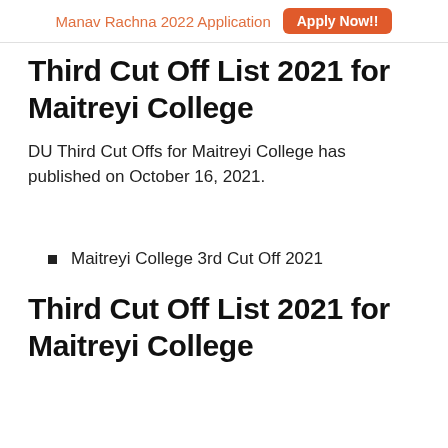Manav Rachna 2022 Application  Apply Now!!
Third Cut Off List 2021 for Maitreyi College
DU Third Cut Offs for Maitreyi College has published on October 16, 2021.
Maitreyi College 3rd Cut Off 2021
Third Cut Off List 2021 for Maitreyi College